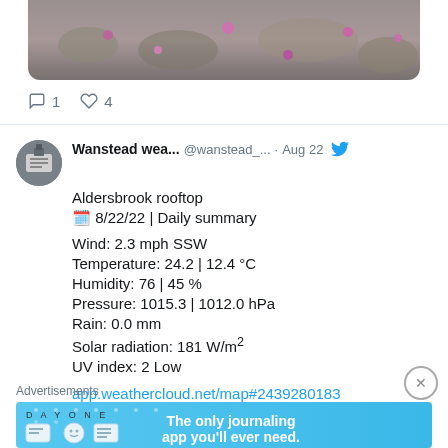[Figure (photo): Cropped photo of grass or ground cover with small pink/purple flowers]
1   4
Wanstead wea... @wanstead_... · Aug 22
Aldersbrook rooftop
📅 8/22/22 | Daily summary

Wind: 2.3 mph SSW
Temperature: 24.2 | 12.4 °C
Humidity: 76 | 45 %
Pressure: 1015.3 | 1012.0 hPa
Rain: 0.0 mm
Solar radiation: 181 W/m²
UV index: 2 Low

app.weathercloud.net/map#2439280183
Advertisements
[Figure (screenshot): DAY ONE app advertisement banner - 'The only journaling app you'll ever need.']